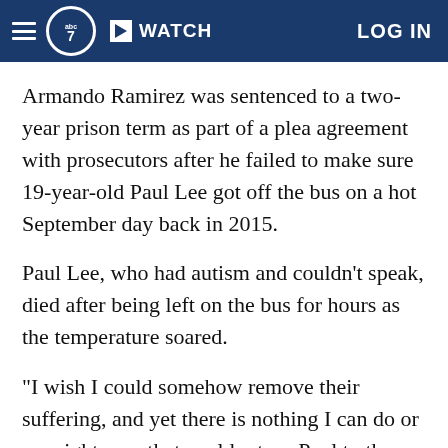ABC7 | WATCH | LOG IN
Armando Ramirez was sentenced to a two-year prison term as part of a plea agreement with prosecutors after he failed to make sure 19-year-old Paul Lee got off the bus on a hot September day back in 2015.
Paul Lee, who had autism and couldn't speak, died after being left on the bus for hours as the temperature soared.
"I wish I could somehow remove their suffering, and yet there is nothing I can do or say right now that could return Paul to them, and I know that," Ramirez said to the court on Monday as he held back tears.